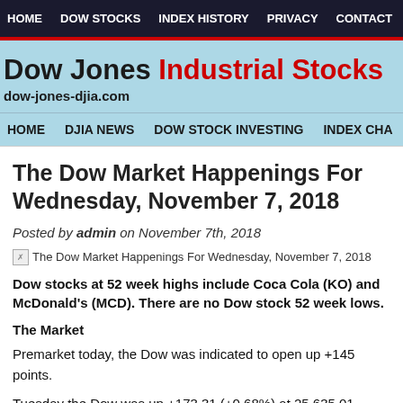HOME  DOW STOCKS  INDEX HISTORY  PRIVACY  CONTACT
Dow Jones Industrial Stocks
dow-jones-djia.com
HOME  DJIA NEWS  DOW STOCK INVESTING  INDEX CHA
The Dow Market Happenings For Wednesday, November 7, 2018
Posted by admin on November 7th, 2018
[Figure (photo): Broken image placeholder for The Dow Market Happenings For Wednesday, November 7, 2018]
Dow stocks at 52 week highs include Coca Cola (KO) and McDonald's (MCD). There are no Dow stock 52 week lows.
The Market
Premarket today, the Dow was indicated to open up +145 points.
Tuesday the Dow was up +173.31 (+0.68%) at 25,635.01.